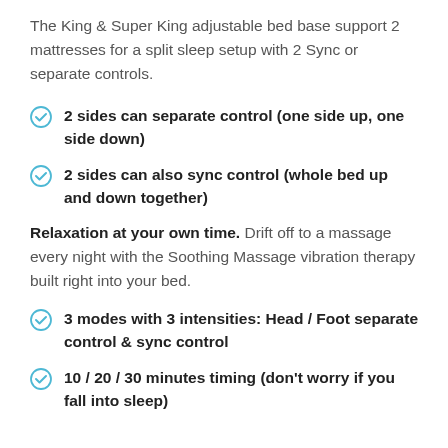The King & Super King adjustable bed base support 2 mattresses for a split sleep setup with 2 Sync or separate controls.
2 sides can separate control (one side up, one side down)
2 sides can also sync control (whole bed up and down together)
Relaxation at your own time. Drift off to a massage every night with the Soothing Massage vibration therapy built right into your bed.
3 modes with 3 intensities: Head / Foot separate control & sync control
10 / 20 / 30 minutes timing (don't worry if you fall into sleep)